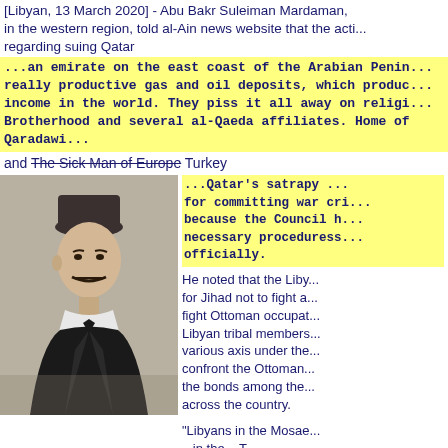[Libyan, 13 March 2020] - Abu Bakr Suleiman Mardaman, in the western region, told al-Ain news website that the action regarding suing Qatar
...an emirate on the east coast of the Arabian Penin... really productive gas and oil deposits, which produc... income in the world. They piss it all away on religi... Brotherhood and several al-Qaeda affiliates. Home of Qaradawi...
and The Sick Man of Europe Turkey
[Figure (photo): Black and white portrait photograph of a man wearing a fez (traditional Ottoman hat) and formal suit with mustache, late 19th/early 20th century style]
...Qatar's satrapy ... for committing war cri... because the Council h... necessary proceduress... officially.
He noted that the Liby... for Jihad not to fight a... fight Ottoman occupat... Libyan tribal members... various axis under the... confront the Ottoman... the bonds among the... across the country.
"Libyans in the Mosae... ...in the ...T...